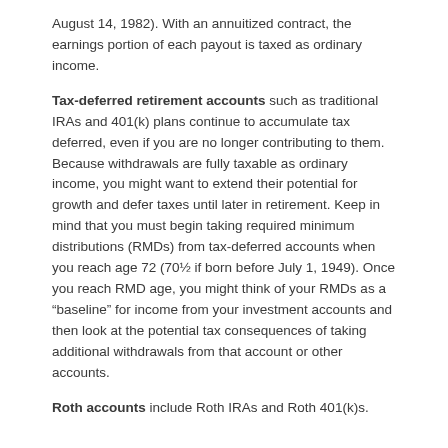August 14, 1982). With an annuitized contract, the earnings portion of each payout is taxed as ordinary income.
Tax-deferred retirement accounts such as traditional IRAs and 401(k) plans continue to accumulate tax deferred, even if you are no longer contributing to them. Because withdrawals are fully taxable as ordinary income, you might want to extend their potential for growth and defer taxes until later in retirement. Keep in mind that you must begin taking required minimum distributions (RMDs) from tax-deferred accounts when you reach age 72 (70½ if born before July 1, 1949). Once you reach RMD age, you might think of your RMDs as a “baseline” for income from your investment accounts and then look at the potential tax consequences of taking additional withdrawals from that account or other accounts.
Roth accounts include Roth IRAs and Roth 401(k)s.